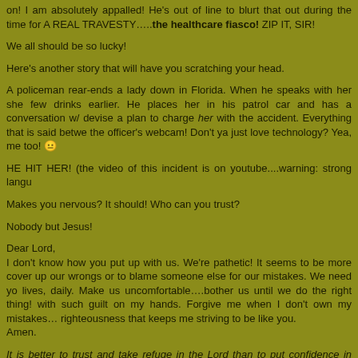on! I am absolutely appalled! He's out of line to blurt that out during the time for A REAL TRAVESTY…..the healthcare fiasco! ZIP IT, SIR!
We all should be so lucky!
Here's another story that will have you scratching your head.
A policeman rear-ends a lady down in Florida. When he speaks with her she had a few drinks earlier. He places her in his patrol car and has a conversation w/ devise a plan to charge her with the accident. Everything that is said between the officer's webcam! Don't ya just love technology? Yea, me too! 😐
HE HIT HER! (the video of this incident is on youtube....warning: strong langu
Makes you nervous? It should! Who can you trust?
Nobody but Jesus!
Dear Lord,
I don't know how you put up with us. We're pathetic! It seems to be more cover up our wrongs or to blame someone else for our mistakes. We need yo lives, daily. Make us uncomfortable….bother us until we do the right thing! with such guilt on my hands. Forgive me when I don't own my mistakes… righteousness that keeps me striving to be like you.
Amen.
It is better to trust and take refuge in the Lord than to put confidence in man. Psalm 118: 8